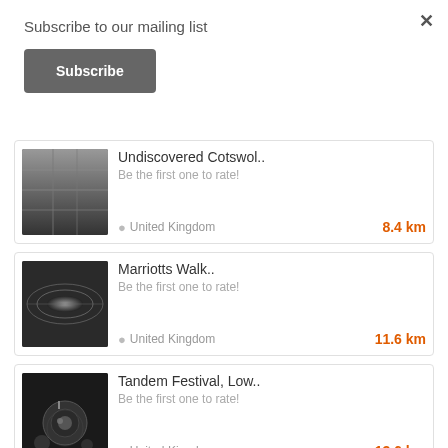Subscribe to our mailing list
Subscribe
×
Undiscovered Cotswol..
Be the first one to rate!
United Kingdom
8.4 km
Marriotts Walk..
Be the first one to rate!
United Kingdom
11.6 km
Tandem Festival, Low..
Be the first one to rate!
United Kingdom
13.6 km